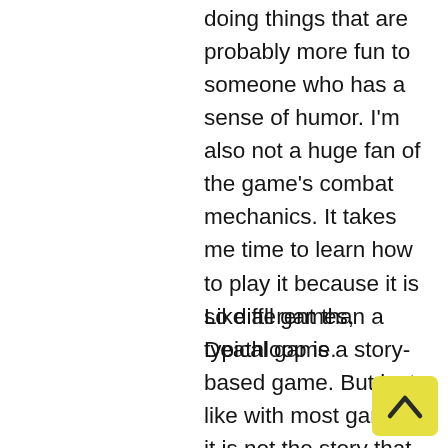doing things that are probably more fun to someone who has a sense of humor. I'm also not a huge fan of the game's combat mechanics. It takes me time to learn how to play it because it is so different than a typical game.
Like all games, Deathloop is a story-based game. But just like with most games, it is not the story that is the fun part, it's the gameplay. In this case it's the way the game handles the story that makes it fun. The story is told through the use of a cutscene that is played in the same order as the other levels.
This is very true. When you see a cutscene it can be very easy to get lost